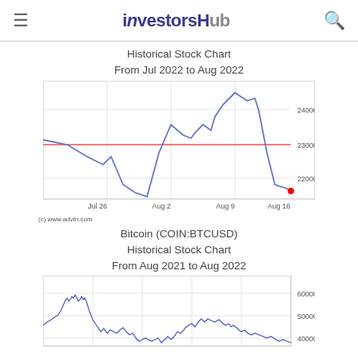investorsHub
Historical Stock Chart
From Jul 2022 to Aug 2022
[Figure (continuous-plot): Bitcoin historical stock price line chart from Jul 2022 to Aug 2022, showing price ranging roughly 21500-24500. Blue line with a red horizontal reference line around 23000. Red dot at end showing latest price near 21500. X-axis labels: Jul 26, Aug 2, Aug 9, Aug 16.]
(c) www.advfn.com
Bitcoin (COIN:BTCUSD)
Historical Stock Chart
From Aug 2021 to Aug 2022
[Figure (continuous-plot): Bitcoin historical stock price line chart from Aug 2021 to Aug 2022, showing price ranging roughly 40000-65000. Blue dense line chart. Y-axis labels: 60000, 50000, 40000.]